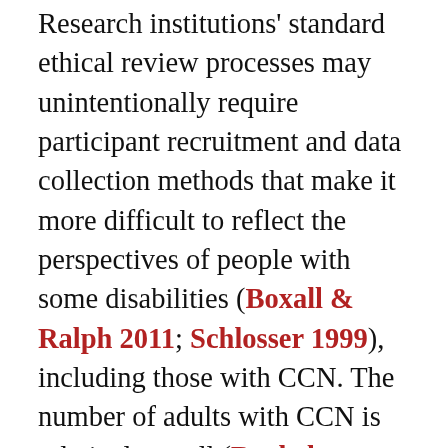Research institutions' standard ethical review processes may unintentionally require participant recruitment and data collection methods that make it more difficult to reflect the perspectives of people with some disabilities (Boxall & Ralph 2011; Schlosser 1999), including those with CCN. The number of adults with CCN is relatively small (Beukelman et al. 2013), and potential participants may be socially isolated (Trembath et al. 2009) making it difficult for AAC researchers to recruit participants. Also, qualitative research methods that require conventional ways of communicating, such as answering questions in in-depth interviews or focus groups without accommodation for different communication modes have frequently excluded participants with CCN (Singal